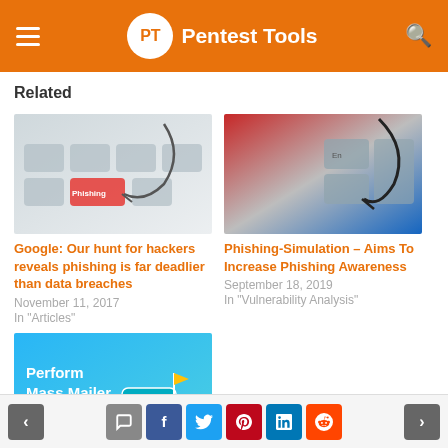Pentest Tools
Related
[Figure (photo): Keyboard with fishhook and 'Phishing' key, grey background]
Google: Our hunt for hackers reveals phishing is far deadlier than data breaches
November 11, 2017
In "Articles"
[Figure (photo): Keyboard with fishhook, red and blue tones]
Phishing-Simulation – Aims To Increase Phishing Awareness
September 18, 2019
In "Vulnerability Analysis"
[Figure (photo): Perform Mass Mailer Attack illustration with mailbox, cyan background]
< comment facebook twitter pinterest linkedin reddit >